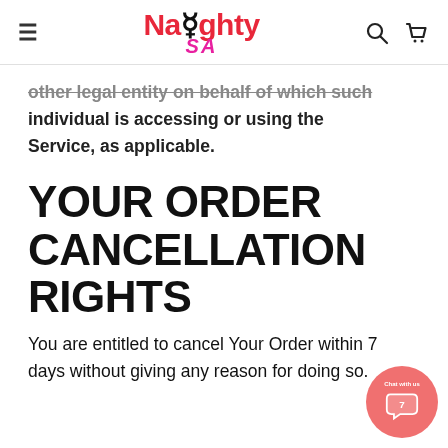Naughty SA — navigation header with hamburger menu, logo, search and cart icons
other legal entity on behalf of which such individual is accessing or using the Service, as applicable.
YOUR ORDER CANCELLATION RIGHTS
You are entitled to cancel Your Order within 7 days without giving any reason for doing so.